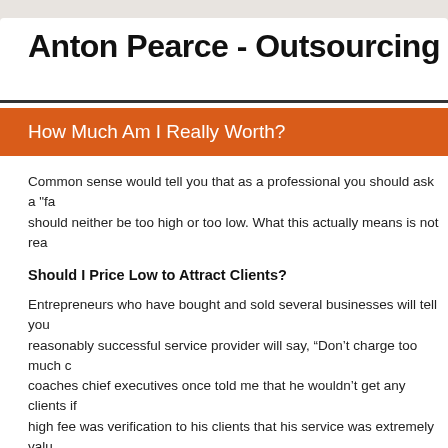Anton Pearce - Outsourcing & Interne
How Much Am I Really Worth?
Common sense would tell you that as a professional you should ask a "fa should neither be too high or too low. What this actually means is not rea
Should I Price Low to Attract Clients?
Entrepreneurs who have bought and sold several businesses will tell you reasonably successful service provider will say, “Don’t charge too much c coaches chief executives once told me that he wouldn’t get any clients if high fee was verification to his clients that his service was extremely valu There is a correlation between value of service and price, particularly in a
Consider the Results of Discounting